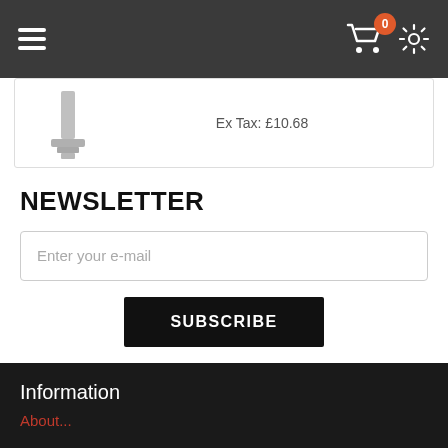Navigation bar with hamburger menu, cart (0 items), and settings icon
Ex Tax: £10.68
NEWSLETTER
Enter your e-mail
SUBSCRIBE
Information
About...